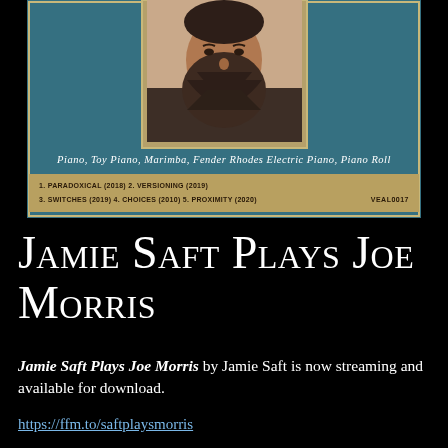[Figure (illustration): Album cover for 'Jamie Saft Plays Joe Morris'. Teal/blue textured background with a sepia-toned portrait photo of a bearded man in a dark suit centered in a gold-bordered frame. Below the portrait in white cursive script: 'Piano, Toy Piano, Marimba, Fender Rhodes Electric Piano, Piano Roll'. At the bottom a tan/gold banner lists tracks: '1. PARADOXICAL (2018)  2. VERSIONING (2019)  3. SWITCHES (2019)  4. CHOICES (2010)  5. PROXIMITY (2020)'  and catalog number 'VEAL0017' on the right.]
Jamie Saft Plays Joe Morris
Jamie Saft Plays Joe Morris by Jamie Saft is now streaming and available for download.
https://ffm.to/saftplaysmorris